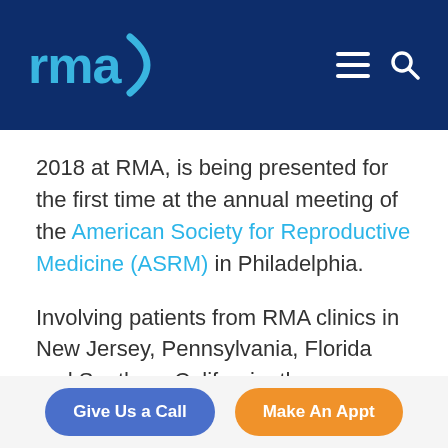rma logo and navigation header
2018 at RMA, is being presented for the first time at the annual meeting of the American Society for Reproductive Medicine (ASRM) in Philadelphia.
Involving patients from RMA clinics in New Jersey, Pennsylvania, Florida and Southern California, the
Give Us a Call | Make An Appt